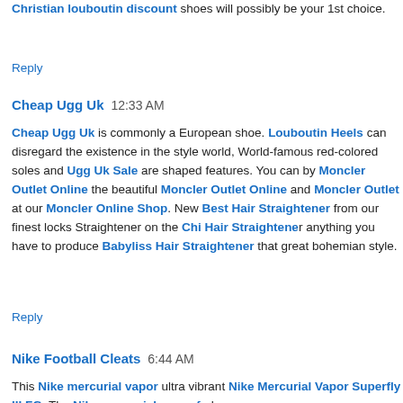Christian louboutin discount shoes will possibly be your 1st choice.
Reply
Cheap Ugg Uk  12:33 AM
Cheap Ugg Uk is commonly a European shoe. Louboutin Heels can disregard the existence in the style world, World-famous red-colored soles and Ugg Uk Sale are shaped features. You can by Moncler Outlet Online the beautiful Moncler Outlet Online and Moncler Outlet at our Moncler Online Shop. New Best Hair Straightener from our finest locks Straightener on the Chi Hair Straightener anything you have to produce Babyliss Hair Straightener that great bohemian style.
Reply
Nike Football Cleats  6:44 AM
This Nike mercurial vapor ultra vibrant Nike Mercurial Vapor Superfly III FG. The Nike mercurial vapor fg has